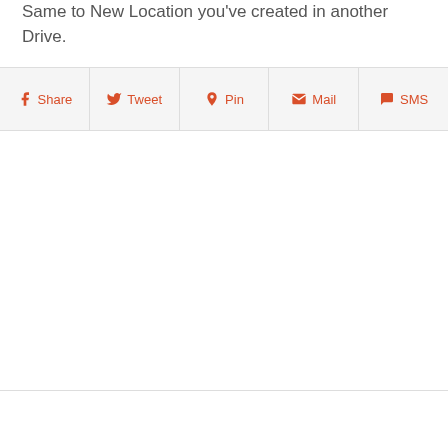Same to New Location you've created in another Drive.
[Figure (infographic): Social share bar with five buttons: Share (Facebook), Tweet (Twitter), Pin (Pinterest), Mail (email), SMS (chat bubble)]